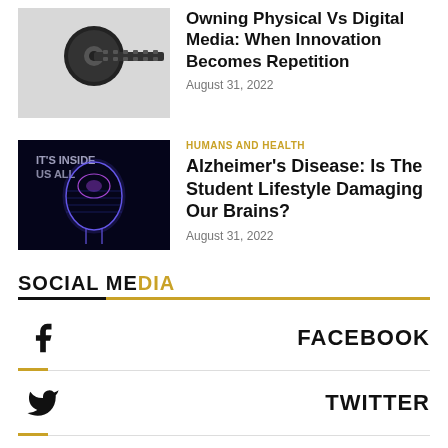[Figure (photo): Film reel / cassette tape on light background]
Owning Physical Vs Digital Media: When Innovation Becomes Repetition
August 31, 2022
[Figure (photo): Glowing neon outline of human head/brain on dark background]
HUMANS AND HEALTH
Alzheimer's Disease: Is The Student Lifestyle Damaging Our Brains?
August 31, 2022
SOCIAL MEDIA
FACEBOOK
TWITTER